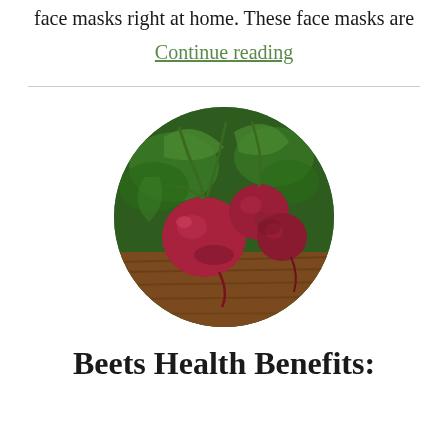face masks right at home. These face masks are
Continue reading
[Figure (photo): Circular photo of fresh red beets with green stems on a wooden surface with green foliage background]
Beets Health Benefits: